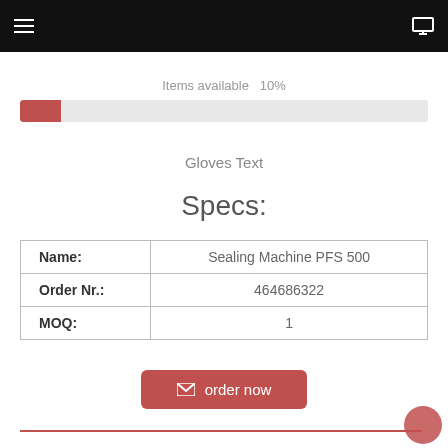Items available   10%
Gloves Text
Specs:
|  |  |
| --- | --- |
| Name: | Sealing Machine PFS 500 |
| Order Nr.: | 464686322 |
| MOQ: | 1 |
order now